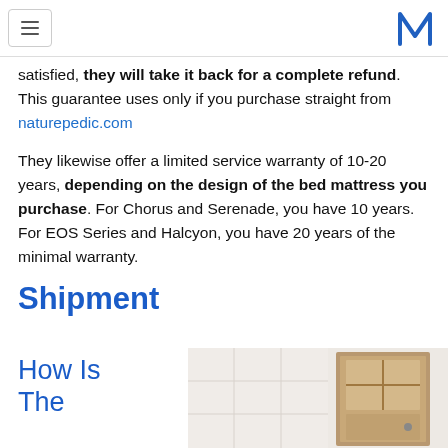Navigation menu and logo
satisfied, they will take it back for a complete refund. This guarantee uses only if you purchase straight from naturepedic.com
They likewise offer a limited service warranty of 10-20 years, depending on the design of the bed mattress you purchase. For Chorus and Serenade, you have 10 years. For EOS Series and Halcyon, you have 20 years of the minimal warranty.
Shipment
How Is The
[Figure (photo): Photo of a bedroom interior with a wooden door visible on the right side.]